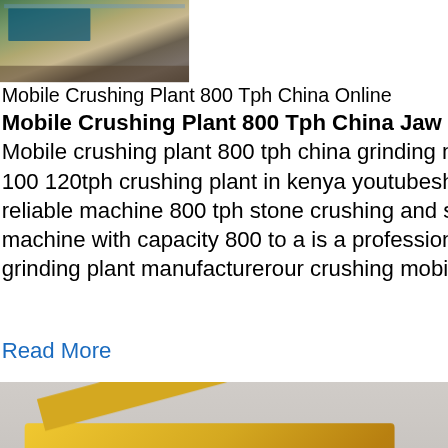[Figure (photo): Top image of mobile crushing plant machinery with heavy equipment on dirt]
Mobile Crushing Plant 800 Tph China Online
Mobile Crushing Plant 800 Tph China Jaw Crusher Ball Mill . Mobile crushing plant 800 tph china grinding mill shanghai manufacturer 100 120tph crushing plant in kenya youtubeshanghai manufacturer reliable machine 800 tph stone crushing and screening stone crushing machine with capacity 800 to a is a professional stone crushing and grinding plant manufacturerour crushing mobile plant 800
Read More
[Figure (photo): Yellow mobile crushing plant on a red truck/trailer]
Mobile Crushing Plant 800 Tph China
Mobile Crushing Plant Tph China Mobile C... ph semi mobile crushing plant tph semi mobile
[Figure (infographic): Sidebar with 24/7 hour online text, cone crusher machine image, Click me to chat>> button, Enquiry section, and limingjlmofen username]
24/7 hour online
Click me to chat>>
Enquiry
limingjlmofen